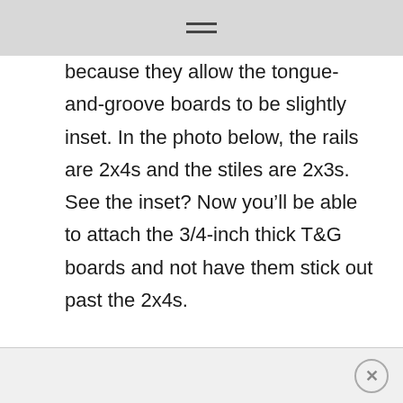because they allow the tongue-and-groove boards to be slightly inset. In the photo below, the rails are 2x4s and the stiles are 2x3s. See the inset? Now you’ll be able to attach the 3/4-inch thick T&G boards and not have them stick out past the 2x4s.